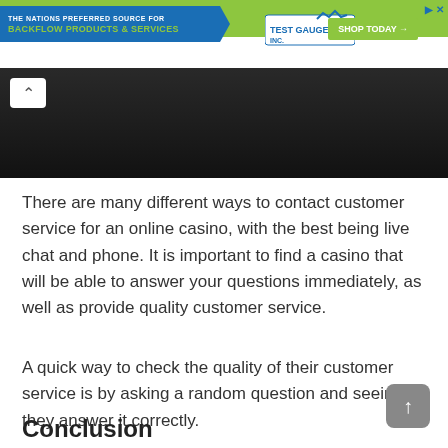[Figure (screenshot): Advertisement banner for Test Gauge Inc. with blue ribbon showing 'THE NATIONS PREFERRED SOURCE FOR BACKFLOW PRODUCTS & SERVICES', Test Gauge Inc. logo, and green 'SHOP TODAY' button.]
[Figure (photo): Dark interior photo, partially visible at top of content area with a back/up navigation button.]
There are many different ways to contact customer service for an online casino, with the best being live chat and phone. It is important to find a casino that will be able to answer your questions immediately, as well as provide quality customer service.
A quick way to check the quality of their customer service is by asking a random question and seeing if they answer it correctly.
Conclusion